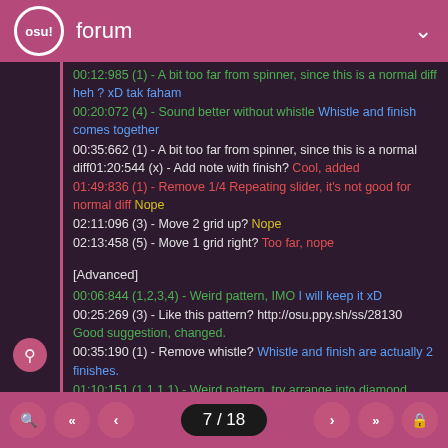osu! forum
00:12:985 (1) - A bit too far from spinner, since this is a normal diff heh ? xD tak faham
00:20:072 (4) - Sound better without whistle Whistle and finish comes together
00:35:662 (1) - A bit too far from spinner, since this is a normal diff01:20:544 (x) - Add note with finish? Cool, added
01:49:836 (1) - Remove 1/4 Repeating slider, it's not good for normal diff Nope
02:11:096 (3) - Move 2 grid up? Nope
02:13:458 (5) - Move 1 grid right? Too far, nope
[Advanced]
00:06:844 (1,2,3,4) - Weird pattern, IMO I will keep it xD
00:25:269 (3) - Like this pattern? http://osu.ppy.sh/ss/28130 Good suggestion, changed.
00:35:190 (1) - Remove whistle? Whistle and finish are actually 2 finishes.
01:10:151 (1,1,1,1) - Weird pattern, try arrange into diamond Nope xD
7 / 18